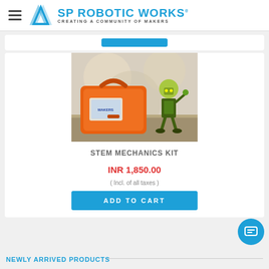SP ROBOTIC WORKS — CREATING A COMMUNITY OF MAKERS
[Figure (photo): STEM Mechanics Kit product image: orange toolkit case and a small robot figure on a table with blurred background]
STEM MECHANICS KIT
INR 1,850.00
( Incl. of all taxes )
ADD TO CART
NEWLY ARRIVED PRODUCTS